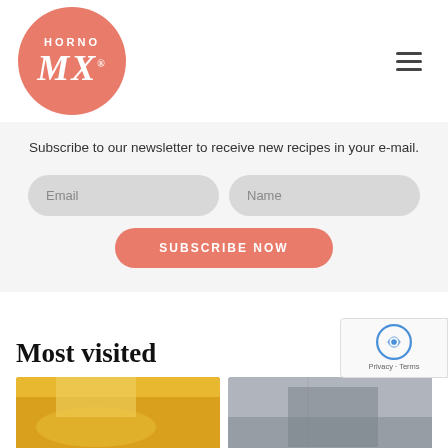[Figure (logo): Horno MX logo: salmon/coral circular logo with white text HORNO above cursive MX]
Subscribe to our newsletter to receive new recipes in your e-mail.
Email
Name
SUBSCRIBE NOW
Most visited
[Figure (photo): Food photo - appears to be a yellow/orange dish with cheese or similar]
[Figure (photo): Gray toned food or kitchen photo]
[Figure (other): reCAPTCHA badge with Privacy - Terms text]